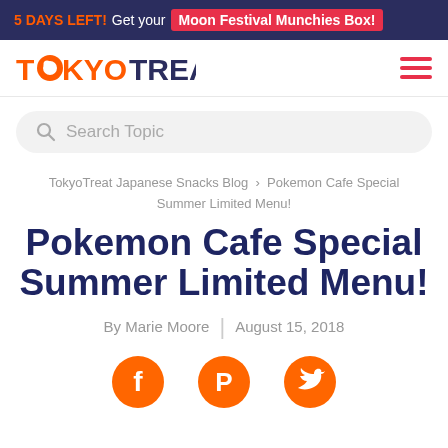5 DAYS LEFT! Get your Moon Festival Munchies Box!
[Figure (logo): TokyoTreat logo in orange with hamburger menu icon]
[Figure (screenshot): Search bar with placeholder text 'Search Topic']
TokyoTreat Japanese Snacks Blog › Pokemon Cafe Special Summer Limited Menu!
Pokemon Cafe Special Summer Limited Menu!
By Marie Moore | August 15, 2018
[Figure (infographic): Social share icons: Facebook, Pinterest, Twitter in orange circles]